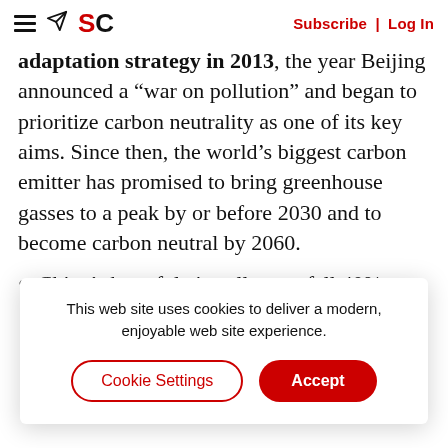Subscribe | Log In
adaptation strategy in 2013, the year Beijing announced a “war on pollution” and began to prioritize carbon neutrality as one of its key aims. Since then, the world’s biggest carbon emitter has promised to bring greenhouse gasses to a peak by or before 2030 and to become carbon neutral by 2060.
China’s harmful air pollutants fell 40% from
This web site uses cookies to deliver a modern, enjoyable web site experience.
Life expectancy has already improved by